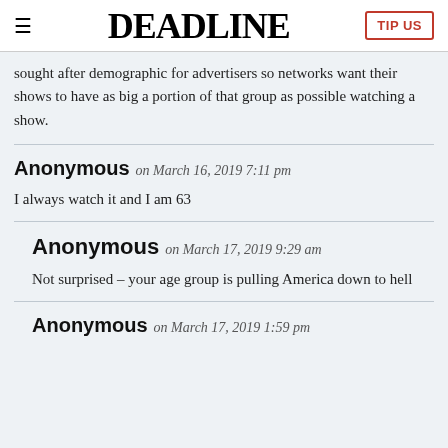DEADLINE | TIP US
sought after demographic for advertisers so networks want their shows to have as big a portion of that group as possible watching a show.
Anonymous on March 16, 2019 7:11 pm
I always watch it and I am 63
Anonymous on March 17, 2019 9:29 am
Not surprised – your age group is pulling America down to hell
Anonymous on March 17, 2019 1:59 pm